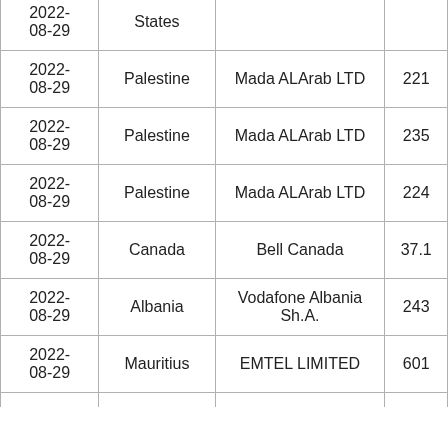| Date | Country | Operator | ASN |
| --- | --- | --- | --- |
| 2022-08-29 | States | ... | ... |
| 2022-08-29 | Palestine | Mada ALArab LTD | 221 |
| 2022-08-29 | Palestine | Mada ALArab LTD | 235 |
| 2022-08-29 | Palestine | Mada ALArab LTD | 224 |
| 2022-08-29 | Canada | Bell Canada | 37.1 |
| 2022-08-29 | Albania | Vodafone Albania Sh.A. | 243 |
| 2022-08-29 | Mauritius | EMTEL LIMITED | 601 |